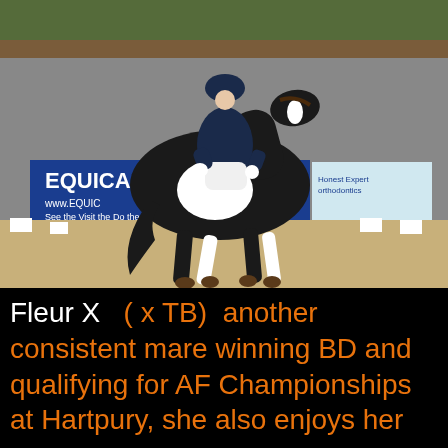[Figure (photo): A rider in a dark navy dressage outfit and helmet riding a black and white pinto/skewbald horse in a dressage arena. The horse is trotting. In the background there are advertising banners including one for 'EQUICA' (www.EQUICA...) and another for 'Honest Expert Orthodontics'. White arena markers are visible.]
Fleur X  ( x TB)  another consistent mare winning BD and qualifying for AF Championships at Hartpury, she also enjoys her